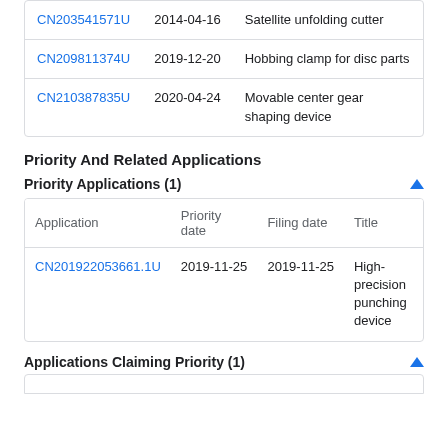| Application | Date | Title |
| --- | --- | --- |
| CN203541571U | 2014-04-16 | Satellite unfolding cutter |
| CN209811374U | 2019-12-20 | Hobbing clamp for disc parts |
| CN210387835U | 2020-04-24 | Movable center gear shaping device |
Priority And Related Applications
Priority Applications (1)
| Application | Priority date | Filing date | Title |
| --- | --- | --- | --- |
| CN201922053661.1U | 2019-11-25 | 2019-11-25 | High-precision punching device |
Applications Claiming Priority (1)